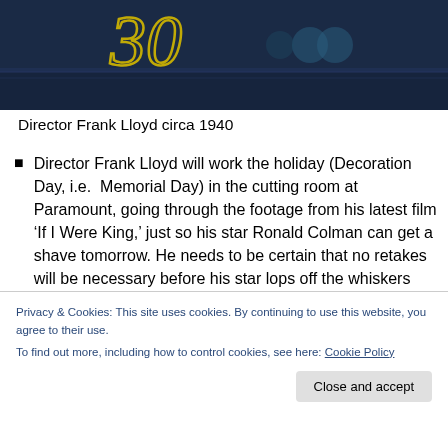[Figure (photo): Dark blue decorative background with yellow ornamental '30' text/logo overlay, appears to be a film or event related image]
Director Frank Lloyd circa 1940
Director Frank Lloyd will work the holiday (Decoration Day, i.e.  Memorial Day) in the cutting room at Paramount, going through the footage from his latest film ‘If I Were King,’ just so his star Ronald Colman can get a shave tomorrow. He needs to be certain that no retakes will be necessary before his star lops off the whiskers that have been sprouting the past eight
Privacy & Cookies: This site uses cookies. By continuing to use this website, you agree to their use.
To find out more, including how to control cookies, see here: Cookie Policy
Close and accept